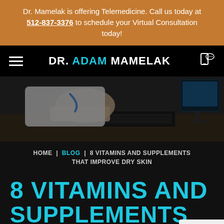Dr. Mamelak is offering Telemedicine. Call us today at 512-837-3376 to schedule your Virtual Consultation today!
DR. ADAM MAMELAK
[Figure (photo): Doctor in white coat typing on a keyboard at a desk with a computer monitor in the background, dark overlay]
HOME | BLOG | 8 VITAMINS AND SUPPLEMENTS THAT IMPROVE DRY SKIN
8 VITAMINS AND SUPPLEMENTS THAT